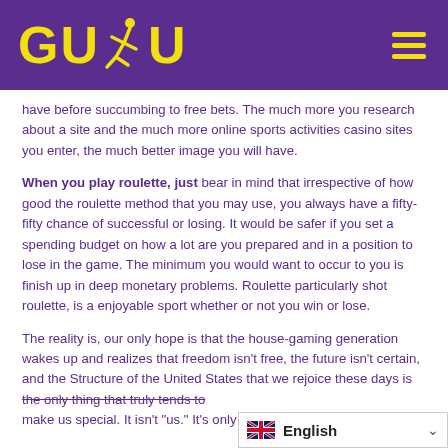[Figure (logo): GUDU logo in yellow text with a running figure silhouette on purple background, with hamburger menu icon on the right]
have before succumbing to free bets. The much more you research about a site and the much more online sports activities casino sites you enter, the much better image you will have.
When you play roulette, just bear in mind that irrespective of how good the roulette method that you may use, you always have a fifty-fifty chance of successful or losing. It would be safer if you set a spending budget on how a lot are you prepared and in a position to lose in the game. The minimum you would want to occur to you is finish up in deep monetary problems. Roulette particularly shot roulette, is a enjoyable sport whether or not you win or lose.
The reality is, our only hope is that the house-gaming generation wakes up and realizes that freedom isn't free, the future isn't certain, and the Structure of the United States that we rejoice these days is the only thing that truly tends to make us special. It isn't "us." It's only us if w